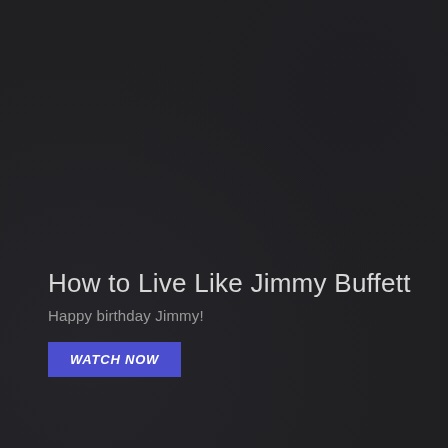How to Live Like Jimmy Buffett
Happy birthday Jimmy!
WATCH NOW